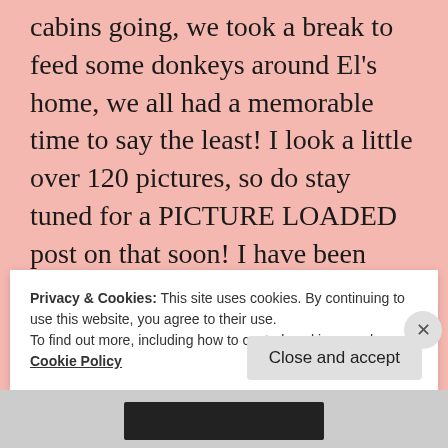cabins going, we took a break to feed some donkeys around El’s home, we all had a memorable time to say the least! I look a little over 120 pictures, so do stay tuned for a PICTURE LOADED post on that soon! I have been editing and trying to get my other projects together, but I am working on it, as well as getting other neat prizes
Privacy & Cookies: This site uses cookies. By continuing to use this website, you agree to their use.
To find out more, including how to control cookies, see here: Cookie Policy
Close and accept